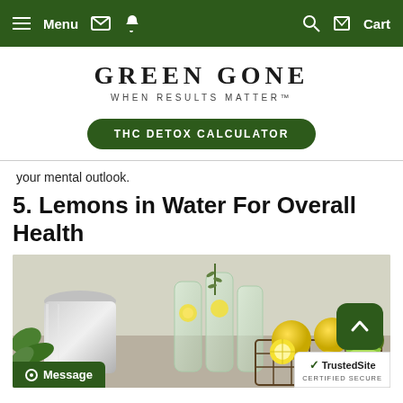Menu  [envelope] [phone]  [search] [cart] Cart
[Figure (logo): Green Gone logo with tagline 'WHEN RESULTS MATTER']
THC DETOX CALCULATOR
your mental outlook.
5. Lemons in Water For Overall Health
[Figure (photo): Photo of lemon water bottles and a wire basket of lemons with rosemary sprigs and a metal pitcher in the background]
Message
TrustedSite CERTIFIED SECURE